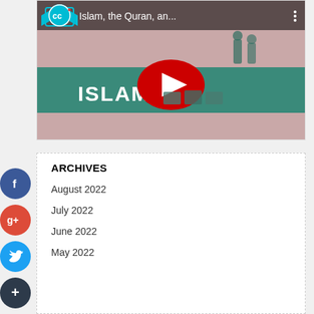[Figure (screenshot): YouTube video thumbnail showing 'Islam, the Quran, an...' with a red play button overlay, CC logo in top left, and 'ISLAM' text visible on a green banner background]
ARCHIVES
August 2022
July 2022
June 2022
May 2022